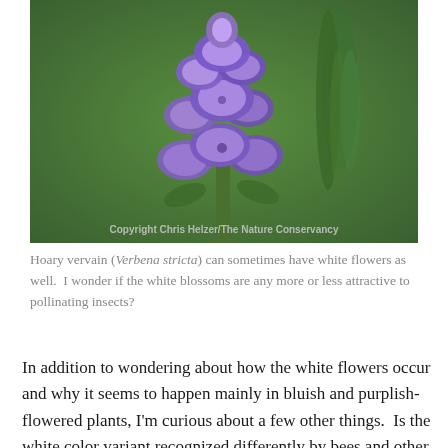[Figure (photo): Close-up photograph of purple hoary vervain (Verbena stricta) flowers against a green blurred background. Copyright watermark reads 'Copyright Chris Helzer/The Nature Conservancy'.]
Hoary vervain (Verbena stricta) can sometimes have white flowers as well.  I wonder if the white blossoms are any more or less attractive to pollinating insects?
In addition to wondering about how the white flowers occur and why it seems to happen mainly in bluish and purplish-flowered plants, I'm curious about a few other things.  Is the white color variant recognized differently by bees and other pollinators?  Are there other differences (nectar or